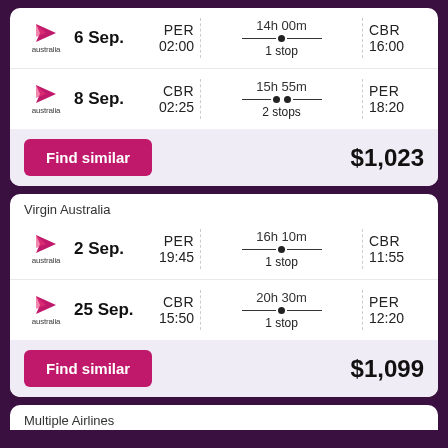6 Sep. | PER 02:00 | 14h 00m 1 stop | CBR 16:00
8 Sep. | CBR 02:25 | 15h 55m 2 stops | PER 18:20
Find similar | $1,023
Virgin Australia
2 Sep. | PER 19:45 | 16h 10m 1 stop | CBR 11:55
25 Sep. | CBR 15:50 | 20h 30m 1 stop | PER 12:20
Find similar | $1,099
Multiple Airlines